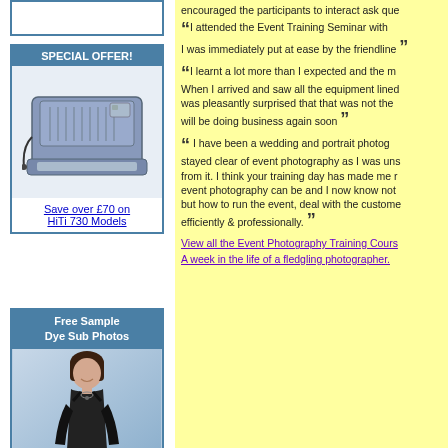[Figure (other): Partial box at top of left column, cut off]
SPECIAL OFFER!
[Figure (photo): HiTi 730 dye sublimation photo printer, blue/grey color]
Save over £70 on HiTi 730 Models
Free Sample Dye Sub Photos
[Figure (photo): Portrait photo of a young woman in black dress with long gloves, smiling, blue gradient background]
encouraged the participants to interact ask que
“I attended the Event Training Seminar with I was immediately put at ease by the friendline
I learnt a lot more than I expected and the m When I arrived and saw all the equipment lined was pleasantly surprised that that was not the will be doing business again soon
I have been a wedding and portrait photog stayed clear of event photography as I was uns from it. I think your training day has made me r event photography can be and I now know not but how to run the event, deal with the custome efficiently & professionally.
View all the Event Photography Training Cours
A week in the life of a fledgling photographer.